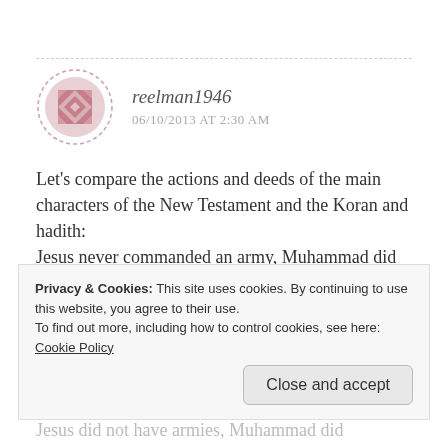reelman1946
06/10/2013 AT 2:30 AM
Let's compare the actions and deeds of the main characters of the New Testament and the Koran and hadith:
Jesus never commanded an army, Muhammad did
Jesus never ordered people to be killed,
Privacy & Cookies: This site uses cookies. By continuing to use this website, you agree to their use.
To find out more, including how to control cookies, see here: Cookie Policy
Close and accept
Jesus did not have armies, Muhammad did